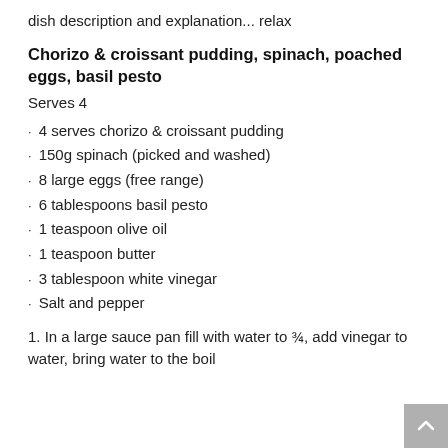dish description and explanation... relax
Chorizo & croissant pudding, spinach, poached eggs, basil pesto
Serves 4
4 serves chorizo & croissant pudding
150g spinach (picked and washed)
8 large eggs (free range)
6 tablespoons basil pesto
1 teaspoon olive oil
1 teaspoon butter
3 tablespoon white vinegar
Salt and pepper
1. In a large sauce pan fill with water to ¾, add vinegar to water, bring water to the boil